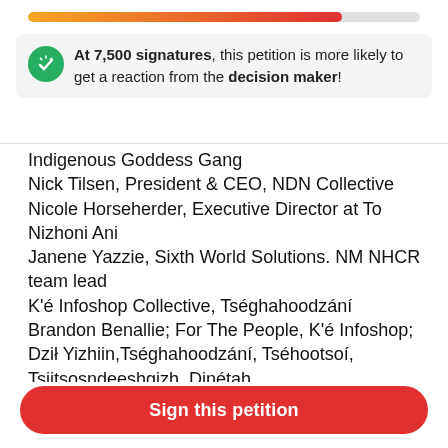[Figure (infographic): Progress bar gradient from orange to red, approximately 80% filled]
At 7,500 signatures, this petition is more likely to get a reaction from the decision maker!
Indigenous Goddess Gang
Nick Tilsen, President & CEO, NDN Collective
Nicole Horseherder, Executive Director at To Nizhoni Ani
Janene Yazzie, Sixth World Solutions. NM NHCR team lead
K'é Infoshop Collective, Tséghahoodzání
Brandon Benallie; For The People, K'é Infoshop; Dził Yizhiin,Tséghahoodzání, Tséhootsoí, Tsiitsosndeeshgizh, Dinétah
Dooda (No) Desert Rock, President, Elouise Brown, TseAlnaozti'i Grazing Officer, TseAlnaozti'i Chapter
Michael Charles, SustainUS Indigenous Delegation
Sign this petition